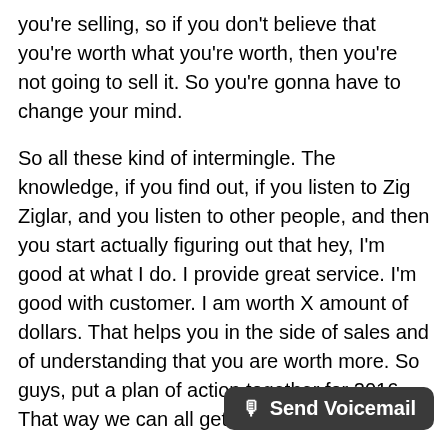you're selling, so if you don't believe that you're worth what you're worth, then you're not going to sell it. So you're gonna have to change your mind.
So all these kind of intermingle. The knowledge, if you find out, if you listen to Zig Ziglar, and you listen to other people, and then you start actually figuring out that hey, I'm good at what I do. I provide great service. I'm good with customer. I am worth X amount of dollars. That helps you in the side of sales and of understanding that you are worth more. So guys, put a plan of action together for 2016. That way we can all get better.
I'm gonna do it myself. I've been trying to do it more and more. I'm still not as effective as I wanna be, but with this accou...
[Figure (other): Send Voicemail button overlay in bottom-right corner with microphone icon]